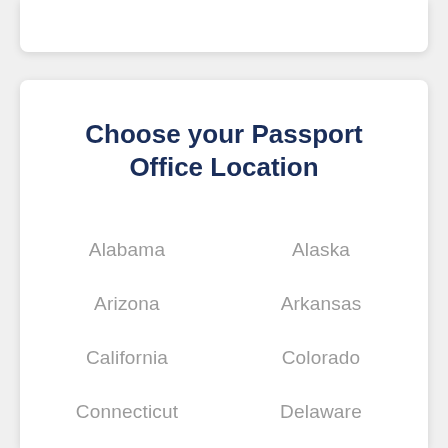Choose your Passport Office Location
Alabama
Alaska
Arizona
Arkansas
California
Colorado
Connecticut
Delaware
Florida
Georgia